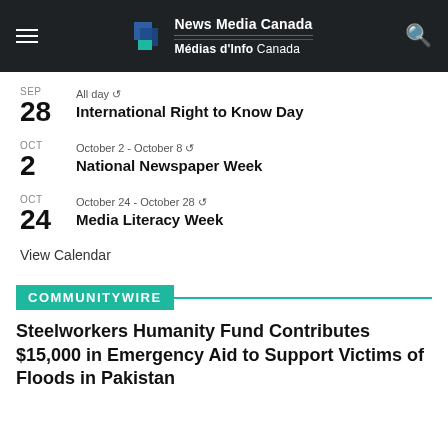News Media Canada / Médias d'Info Canada
SEP 28 — All day — International Right to Know Day
OCT 2 — October 2 - October 8 — National Newspaper Week
OCT 24 — October 24 - October 28 — Media Literacy Week
View Calendar
COMMUNITYWIRE
Steelworkers Humanity Fund Contributes $15,000 in Emergency Aid to Support Victims of Floods in Pakistan